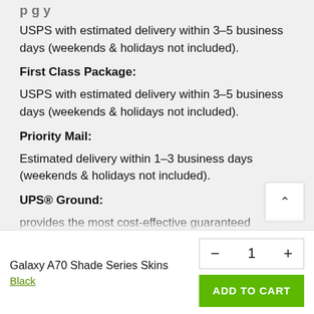USPS with estimated delivery within 3-5 business days (weekends & holidays not included).
First Class Package:
USPS with estimated delivery within 3-5 business days (weekends & holidays not included).
Priority Mail:
Estimated delivery within 1-3 business days (weekends & holidays not included).
UPS® Ground:
provides the most cost-effective guaranteed
Galaxy A70 Shade Series Skins
Black